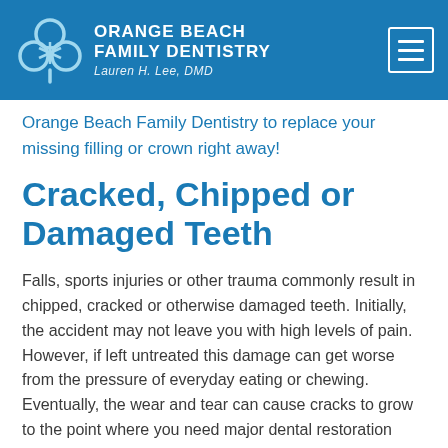Orange Beach Family Dentistry — Lauren H. Lee, DMD
Orange Beach Family Dentistry to replace your missing filling or crown right away!
Cracked, Chipped or Damaged Teeth
Falls, sports injuries or other trauma commonly result in chipped, cracked or otherwise damaged teeth. Initially, the accident may not leave you with high levels of pain. However, if left untreated this damage can get worse from the pressure of everyday eating or chewing. Eventually, the wear and tear can cause cracks to grow to the point where you need major dental restoration work.
Even if there is no apparent damage to your teeth, it's